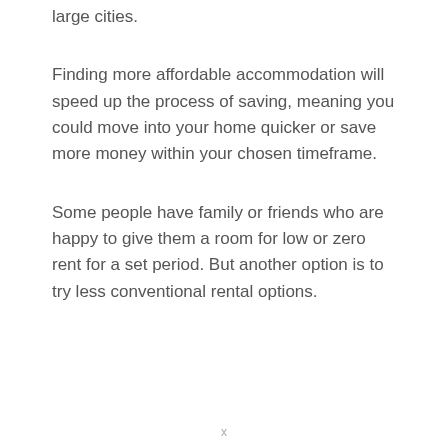large cities.
Finding more affordable accommodation will speed up the process of saving, meaning you could move into your home quicker or save more money within your chosen timeframe.
Some people have family or friends who are happy to give them a room for low or zero rent for a set period. But another option is to try less conventional rental options.